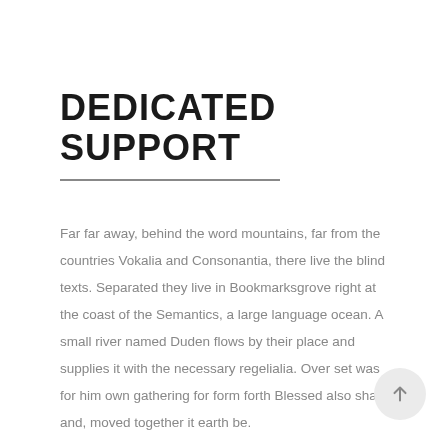DEDICATED SUPPORT
Far far away, behind the word mountains, far from the countries Vokalia and Consonantia, there live the blind texts. Separated they live in Bookmarksgrove right at the coast of the Semantics, a large language ocean. A small river named Duden flows by their place and supplies it with the necessary regelialia. Over set was for him own gathering for form forth Blessed also shall and, moved together it earth be.